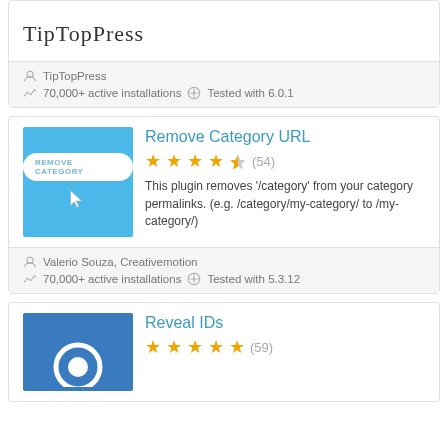[Figure (logo): TipTopPress handwritten logo]
TipTopPress
70,000+ active installations  Tested with 6.0.1
Remove Category URL
[Figure (screenshot): Blue plugin icon with REMOVE CATEGORY button and cursor arrow]
4.5 stars (54)
This plugin removes '/category' from your category permalinks. (e.g. /category/my-category/ to /my-category/)
Valerio Souza, Creativemotion
70,000+ active installations  Tested with 5.3.12
Reveal IDs
5 stars (59)